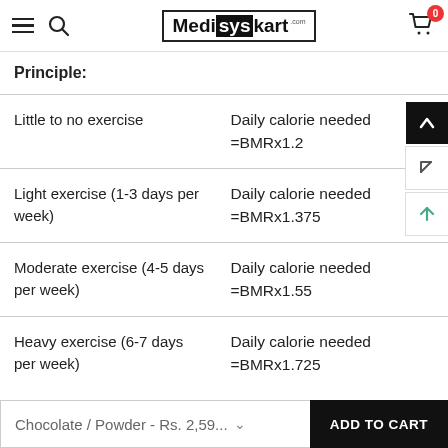Medisyskart.com
| Principle: |  |
| --- | --- |
| Little to no exercise | Daily calorie needed =BMRx1.2 |
| Light exercise (1-3 days per week) | Daily calorie needed =BMRx1.375 |
| Moderate exercise (4-5 days per week) | Daily calorie needed =BMRx1.55 |
| Heavy exercise (6-7 days per week) | Daily calorie needed =BMRx1.725 |
Chocolate / Powder - Rs. 2,59... ADD TO CART